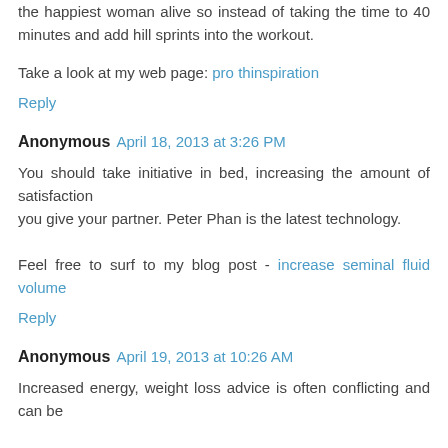the happiest woman alive so instead of taking the time to 40 minutes and add hill sprints into the workout.
Take a look at my web page: pro thinspiration
Reply
Anonymous April 18, 2013 at 3:26 PM
You should take initiative in bed, increasing the amount of satisfaction
you give your partner. Peter Phan is the latest technology.
Feel free to surf to my blog post - increase seminal fluid volume
Reply
Anonymous April 19, 2013 at 10:26 AM
Increased energy, weight loss advice is often conflicting and can be